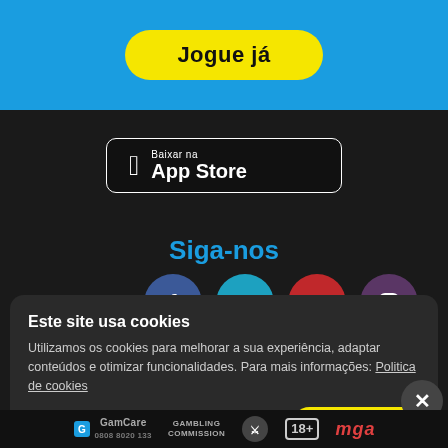[Figure (screenshot): Blue header bar with yellow 'Jogue já' button]
[Figure (screenshot): App Store download button on dark background]
Siga-nos
[Figure (screenshot): Social media icons: Facebook, Twitter, YouTube, Instagram]
[Figure (screenshot): Grey scroll-up arrow button]
We d bonus to ch
[Figure (screenshot): Cookie consent banner overlay]
Este site usa cookies
Utilizamos os cookies para melhorar a sua experiência, adaptar conteúdos e otimizar funcionalidades. Para mais informações: Politica de cookies
Personalizar cookies.
ACEITAR
GamCare 0808 8020 133   GAMBLING COMMISSION   [icon]   18+   mga